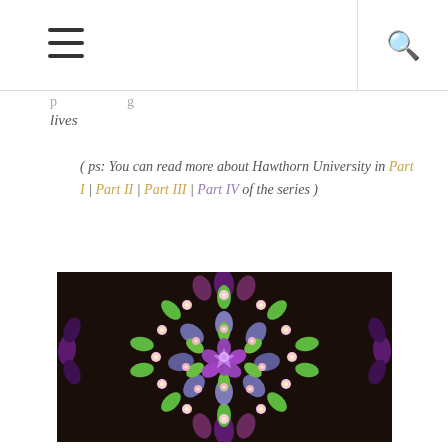lives
( ps: You can read more about Hawthorn University in Part I | Part II | Part III | Part IV of the series )
[Figure (photo): A colorful floral mandala arranged on dark soil, featuring pink daisy-like flowers in a circular pattern with purple, blue, and green petals/leaves arranged symmetrically.]